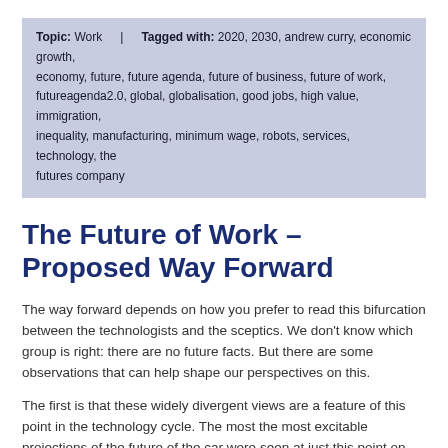Topic: Work | Tagged with: 2020, 2030, andrew curry, economic growth, economy, future, future agenda, future of business, future of work, futureagenda2.0, global, globalisation, good jobs, high value, immigration, inequality, manufacturing, minimum wage, robots, services, technology, the futures company
The Future of Work – Proposed Way Forward
The way forward depends on how you prefer to read this bifurcation between the technologists and the sceptics. We don't know which group is right: there are no future facts. But there are some observations that can help shape our perspectives on this.
The first is that these widely divergent views are a feature of this point in the technology cycle. The most the most excitable projections of the future of the car were seen at just this point on the oil and auto curve in the 1950s. The technology S-curve in